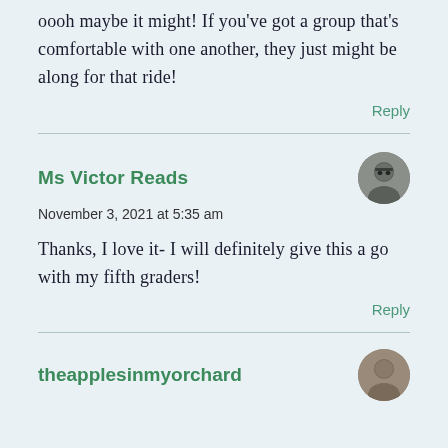oooh maybe it might! If you've got a group that's comfortable with one another, they just might be along for that ride!
Reply
Ms Victor Reads
November 3, 2021 at 5:35 am
Thanks, I love it- I will definitely give this a go with my fifth graders!
Reply
theapplesinmyorchard